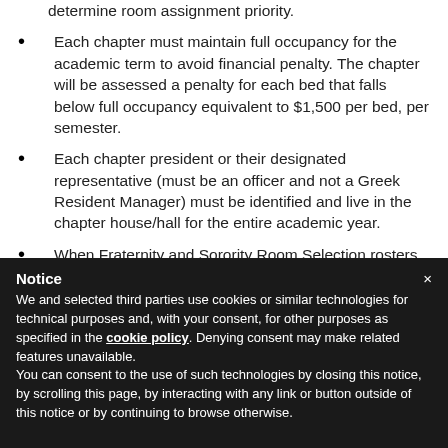determine room assignment priority.
Each chapter must maintain full occupancy for the academic term to avoid financial penalty. The chapter will be assessed a penalty for each bed that falls below full occupancy equivalent to $1,500 per bed, per semester.
Each chapter president or their designated representative (must be an officer and not a Greek Resident Manager) must be identified and live in the chapter house/hall for the entire academic year.
When Fraternity and Sorority Room Selection rosters are submitted for the next academic year, any space not filled by the chapter may be made available during the official
Notice
We and selected third parties use cookies or similar technologies for technical purposes and, with your consent, for other purposes as specified in the cookie policy. Denying consent may make related features unavailable.
You can consent to the use of such technologies by closing this notice, by scrolling this page, by interacting with any link or button outside of this notice or by continuing to browse otherwise.